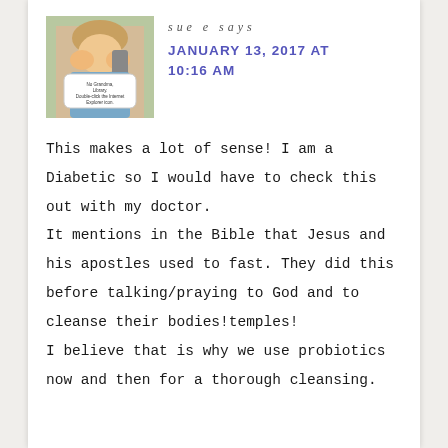[Figure (photo): Child on phone with speech bubble text overlay, color photo]
sue e says
JANUARY 13, 2017 AT 10:16 AM
This makes a lot of sense! I am a Diabetic so I would have to check this out with my doctor.
It mentions in the Bible that Jesus and his apostles used to fast. They did this before talking/praying to God and to cleanse their bodies!temples!
I believe that is why we use probiotics now and then for a thorough cleansing.